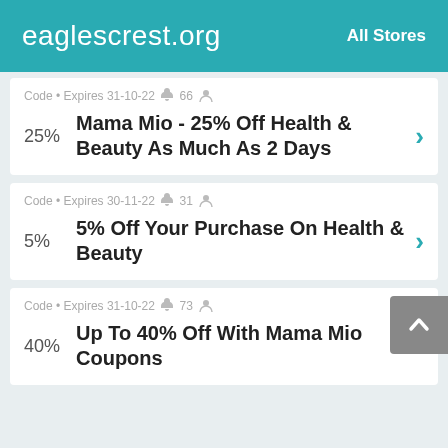eaglescrest.org   All Stores
Code • Expires 31-10-22 🔔 66 👤
25%  Mama Mio - 25% Off Health & Beauty As Much As 2 Days
Code • Expires 30-11-22 🔔 31 👤
5%  5% Off Your Purchase On Health & Beauty
Code • Expires 31-10-22 🔔 73 👤
40%  Up To 40% Off With Mama Mio Coupons